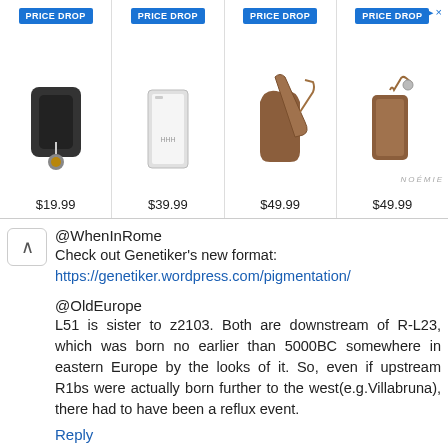[Figure (screenshot): Advertisement banner showing four product listings with PRICE DROP badges. Items: black AirPods case $19.99, white phone case $39.99, brown crossbody phone case with strap $49.99, brown leather phone crossbody $49.99. NOEMIE brand label visible.]
@WhenInRome
Check out Genetiker's new format:
https://genetiker.wordpress.com/pigmentation/

@OldEurope
L51 is sister to z2103. Both are downstream of R-L23, which was born no earlier than 5000BC somewhere in eastern Europe by the looks of it. So, even if upstream R1bs were actually born further to the west(e.g.Villabruna), there had to have been a reflux event.

Reply
Mongo April 23, 2018 at 11:53 AM
From the Nature paper The genomic history of southeastern Europe
(https://iris.unipa.it/retrieve/handle/10447/273248/529042/n